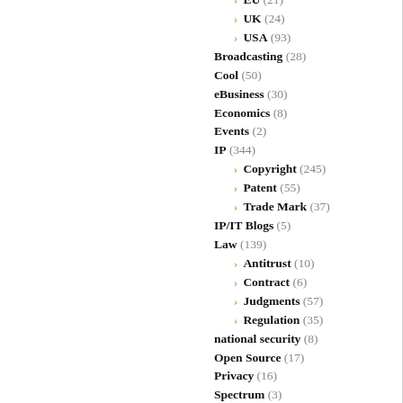EU (21)
UK (24)
USA (93)
Broadcasting (28)
Cool (50)
eBusiness (30)
Economics (8)
Events (2)
IP (344)
Copyright (245)
Patent (55)
Trade Mark (37)
IP/IT Blogs (5)
Law (139)
Antitrust (10)
Contract (6)
Judgments (57)
Regulation (35)
national security (8)
Open Source (17)
Privacy (16)
Spectrum (3)
Tech (195)